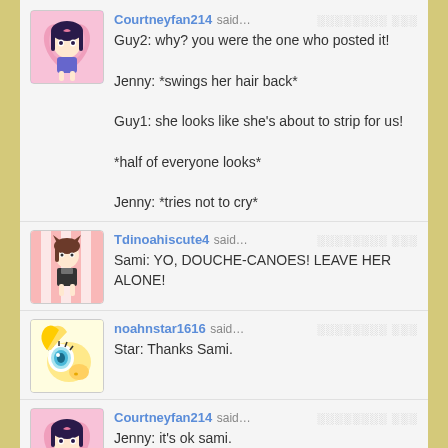Courtneyfan214 said… [timestamp] Guy2: why? you were the one who posted it!

Jenny: *swings her hair back*

Guy1: she looks like she's about to strip for us!

*half of everyone looks*

Jenny: *tries not to cry*
Tdinoahiscute4 said… [timestamp] Sami: YO, DOUCHE-CANOES! LEAVE HER ALONE!
noahnstar1616 said… [timestamp] Star: Thanks Sami.
Courtneyfan214 said… [timestamp] Jenny: it's ok sami.